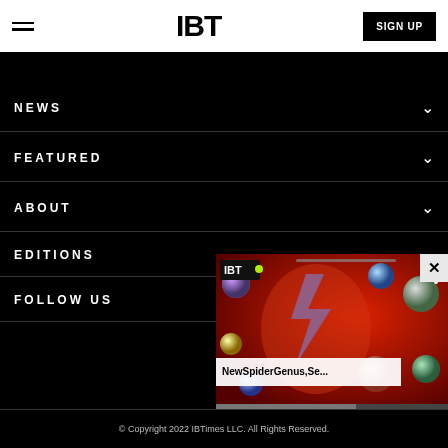IBT
NEWS
FEATURED
ABOUT
EDITIONS
FOLLOW US
[Figure (screenshot): IBT video thumbnail popup showing a Ziggy Stardust / David Bowie mosaic portrait on red background with colorful planet spheres, IBT logo top left, three-dot menu top right, title bar reading 'NewSpiderGenus,Se...' and a progress bar at bottom, with an X close button at top right corner]
© Copyright 2022 IBTimes LLC. All Rights Reserved.